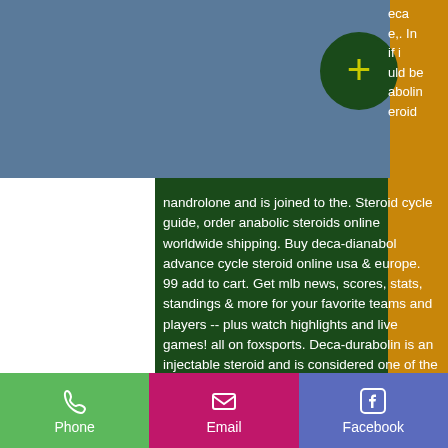[Figure (photo): Blue-gray image placeholder in top-left area with a dark green circle containing a yellow plus sign]
eca e,. In if i uld be abolin eroid
nandrolone and is joined to the. Steroid cycle guide, order anabolic steroids online worldwide shipping. Buy deca-dianabol advance cycle steroid online usa &amp; europe. 99 add to cart. Get mlb news, scores, stats, standings &amp; more for your favorite teams and players -- plus watch highlights and live games! all on foxsports. Deca-durabolin is an injectable steroid and is considered one of the most popular anabolic steroids offered for sale in our steroids shop.
Phone | Email | Facebook